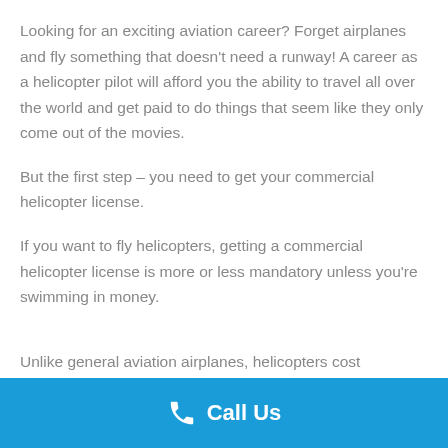Looking for an exciting aviation career? Forget airplanes and fly something that doesn't need a runway! A career as a helicopter pilot will afford you the ability to travel all over the world and get paid to do things that seem like they only come out of the movies.
But the first step – you need to get your commercial helicopter license.
If you want to fly helicopters, getting a commercial helicopter license is more or less mandatory unless you're swimming in money.
Unlike general aviation airplanes, helicopters cost
Call Us